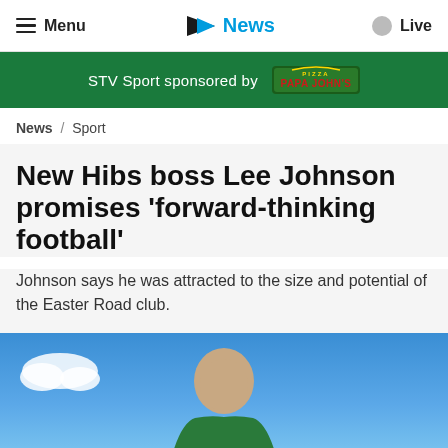Menu  STV News  Live
STV Sport sponsored by Papa John's
News / Sport
New Hibs boss Lee Johnson promises 'forward-thinking football'
Johnson says he was attracted to the size and potential of the Easter Road club.
[Figure (photo): Photo of Lee Johnson smiling, wearing a green jacket, against a blue sky background]